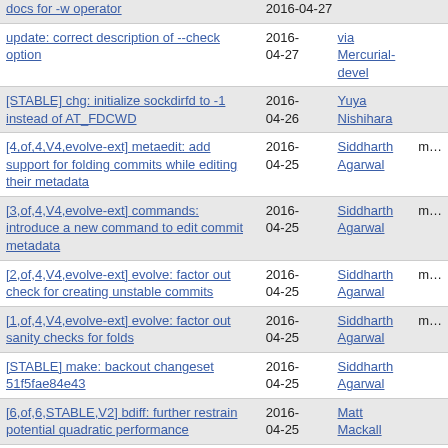| Title | Date | Author |  |
| --- | --- | --- | --- |
| docs for -w operator | 2016-04-27 |  |  |
| update: correct description of --check option | 2016-04-27 | via Mercurial-devel |  |
| [STABLE] chg: initialize sockdirfd to -1 instead of AT_FDCWD | 2016-04-26 | Yuya Nishihara |  |
| [4,of,4,V4,evolve-ext] metaedit: add support for folding commits while editing their metadata | 2016-04-25 | Siddharth Agarwal | mam |
| [3,of,4,V4,evolve-ext] commands: introduce a new command to edit commit metadata | 2016-04-25 | Siddharth Agarwal | mam |
| [2,of,4,V4,evolve-ext] evolve: factor out check for creating unstable commits | 2016-04-25 | Siddharth Agarwal | mam |
| [1,of,4,V4,evolve-ext] evolve: factor out sanity checks for folds | 2016-04-25 | Siddharth Agarwal | mam |
| [STABLE] make: backout changeset 51f5fae84e43 | 2016-04-25 | Siddharth Agarwal |  |
| [6,of,6,STABLE,V2] bdiff: further restrain potential quadratic performance | 2016-04-25 | Matt Mackall |  |
| [5,of,6,STABLE,V2] bdiff: balance recursion to avoid quadratic behavior (issue4704) | 2016-04-25 | Matt Mackall |  |
| [4,of,6,STABLE,V2] bdiff: deal better with duplicate lines | 2016-04-25 | Matt Mackall |  |
| [3,of,6,STABLE,V2] bdiff: fix | 2016- |  |  |